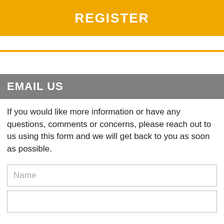REGISTER
EMAIL US
If you would like more information or have any questions, comments or concerns, please reach out to us using this form and we will get back to you as soon as possible.
Name